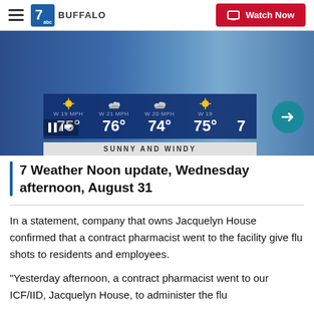7 WKBW Buffalo — Watch Now
[Figure (screenshot): Weather forecast screenshot showing temperatures 75°, 76°, 74°, 75° with label SUNNY AND WINDY and a meteorologist presenting]
7 Weather Noon update, Wednesday afternoon, August 31
In a statement, company that owns Jacquelyn House confirmed that a contract pharmacist went to the facility give flu shots to residents and employees.
"Yesterday afternoon, a contract pharmacist went to our ICF/IID, Jacquelyn House, to administer the flu